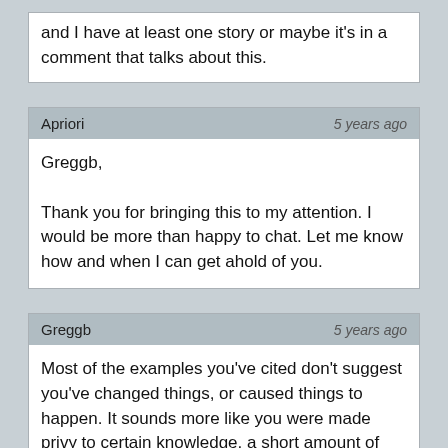and I have at least one story or maybe it's in a comment that talks about this.
Apriori
5 years ago

Greggb,

Thank you for bringing this to my attention. I would be more than happy to chat. Let me know how and when I can get ahold of you.
Greggb
5 years ago

Most of the examples you've cited don't suggest you've changed things, or caused things to happen. It sounds more like you were made privy to certain knowledge, a short amount of time before it'd be naturally revealed to you.

You commented on my post so I know you've read some of my accounts regarding similar occurrences. What our experiences have in common is that our premonitions are pretty useless to us, at least so far. I mean, given a few seconds and we'd naturally come to learn those things, and our knowledge before-hand didn't really matter, or prevent anything bad.